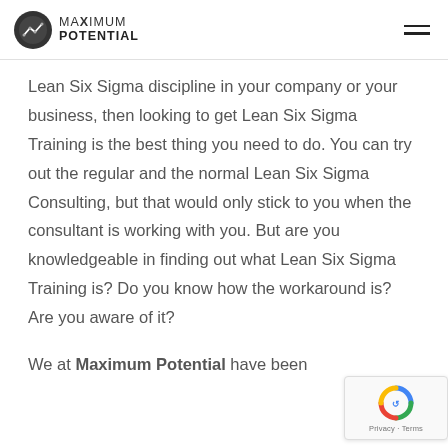Maximum Potential
Lean Six Sigma discipline in your company or your business, then looking to get Lean Six Sigma Training is the best thing you need to do. You can try out the regular and the normal Lean Six Sigma Consulting, but that would only stick to you when the consultant is working with you. But are you knowledgeable in finding out what Lean Six Sigma Training is? Do you know how the workaround is? Are you aware of it?
We at Maximum Potential have been